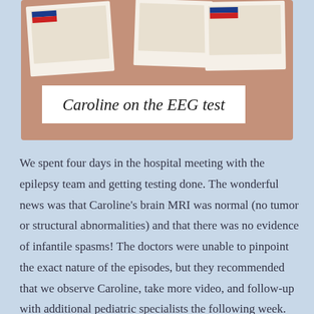[Figure (illustration): Illustration area with brown/tan background showing three polaroid-style photos at the top, with a white caption box reading 'Caroline on the EEG test' in handwritten script style]
Caroline on the EEG test
We spent four days in the hospital meeting with the epilepsy team and getting testing done. The wonderful news was that Caroline's brain MRI was normal (no tumor or structural abnormalities) and that there was no evidence of infantile spasms! The doctors were unable to pinpoint the exact nature of the episodes, but they recommended that we observe Caroline, take more video, and follow-up with additional pediatric specialists the following week.